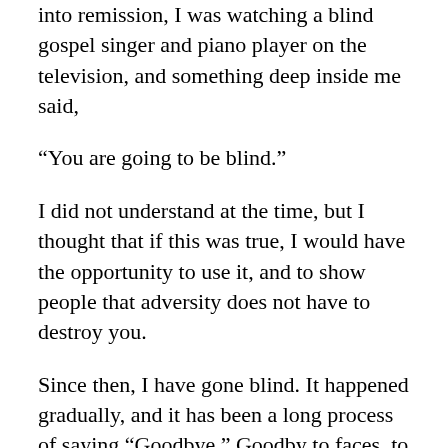into remission, I was watching a blind gospel singer and piano player on the television, and something deep inside me said,
“You are going to be blind.”
I did not understand at the time, but I thought that if this was true, I would have the opportunity to use it, and to show people that adversity does not have to destroy you.
Since then, I have gone blind. It happened gradually, and it has been a long process of saying “Goodbye.” Goodby to faces, to the things of nature that I loved, to colours, and to much much more. I am not going to say that